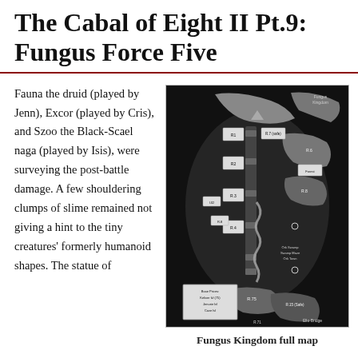The Cabal of Eight II Pt.9: Fungus Force Five
Fauna the druid (played by Jenn), Excor (played by Cris), and Szoo the Black-Scael naga (played by Isis), were surveying the post-battle damage. A few shouldering clumps of slime remained not giving a hint to the tiny creatures' formerly humanoid shapes. The statue of
[Figure (map): Fungus Kingdom full map — a hand-drawn black and white fantasy dungeon/realm map with labeled rooms and areas on a dark background, showing tunnels, rivers, and regions labeled with alphanumeric codes.]
Fungus Kingdom full map